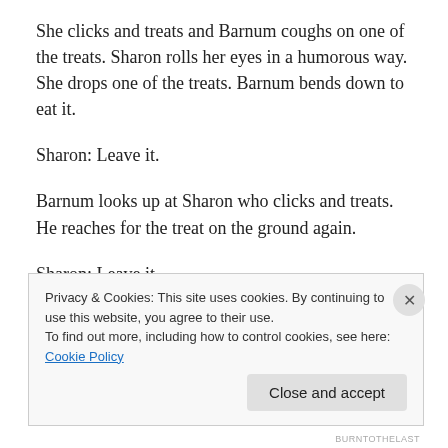She clicks and treats and Barnum coughs on one of the treats. Sharon rolls her eyes in a humorous way. She drops one of the treats. Barnum bends down to eat it.
Sharon: Leave it.
Barnum looks up at Sharon who clicks and treats. He reaches for the treat on the ground again.
Sharon: Leave it.
Barnum looks up, Sharon clicks and treats. Then start
Privacy & Cookies: This site uses cookies. By continuing to use this website, you agree to their use.
To find out more, including how to control cookies, see here: Cookie Policy
BURNTOTHELAST